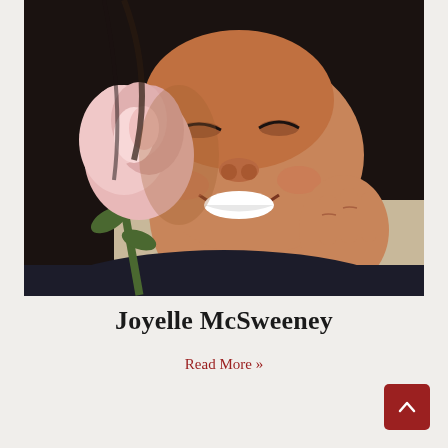[Figure (photo): A smiling woman with dark hair holding a pink rose close to her face, eyes closed, hand resting near her chin. Close-up portrait photo.]
Joyelle McSweeney
Read More »